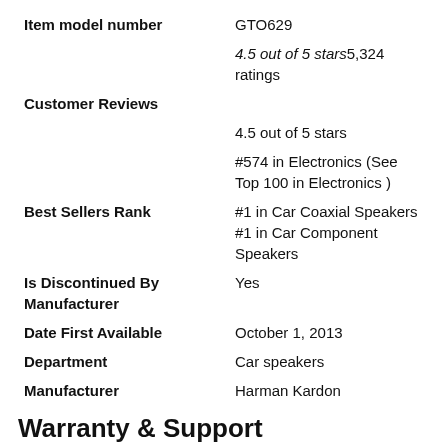| Item model number | GTO629 |
| Customer Reviews | 4.5 out of 5 stars5,324 ratings
4.5 out of 5 stars
#574 in Electronics (See Top 100 in Electronics ) |
| Best Sellers Rank | #1 in Car Coaxial Speakers
#1 in Car Component Speakers |
| Is Discontinued By Manufacturer | Yes |
| Date First Available | October 1, 2013 |
| Department | Car speakers |
| Manufacturer | Harman Kardon |
Warranty & Support
Product Warranty:For warranty information about this product, please click here
Feedback